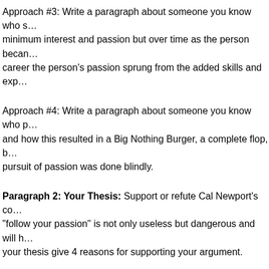Approach #3: Write a paragraph about someone you know who started with minimum interest and passion but over time as the person became skilled in their career the person's passion sprung from the added skills and exp…
Approach #4: Write a paragraph about someone you know who pursued a passion and how this resulted in a Big Nothing Burger, a complete flop, b… pursuit of passion was done blindly.
Paragraph 2: Your Thesis: Support or refute Cal Newport's co… "follow your passion" is not only useless but dangerous and will h… your thesis give 4 reasons for supporting your argument.
Paragraphs 3-7 are your supporting paragraphs.
Paragraph 8 is your counterargument rebuttal, in which you ar…